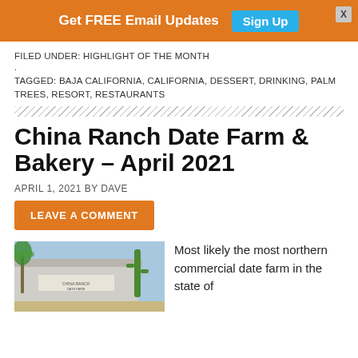Get FREE Email Updates  Sign Up
FILED UNDER: HIGHLIGHT OF THE MONTH
.
TAGGED: BAJA CALIFORNIA, CALIFORNIA, DESSERT, DRINKING, PALM TREES, RESORT, RESTAURANTS
China Ranch Date Farm & Bakery – April 2021
APRIL 1, 2021 BY DAVE
LEAVE A COMMENT
[Figure (photo): Exterior photo of China Ranch Date Farm store with palm trees and cactus]
Most likely the most northern commercial date farm in the state of